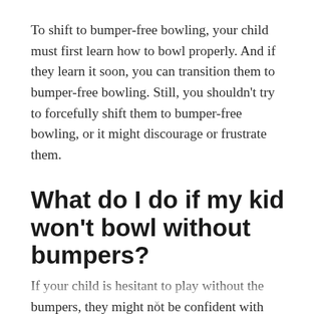To shift to bumper-free bowling, your child must first learn how to bowl properly. And if they learn it soon, you can transition them to bumper-free bowling. Still, you shouldn't try to forcefully shift them to bumper-free bowling, or it might discourage or frustrate them.
What do I do if my kid won't bowl without bumpers?
If your child is hesitant to play without the bumpers, they might not be confident with their skills yet. In that case, I suggest two things: consistency and [continues below...]